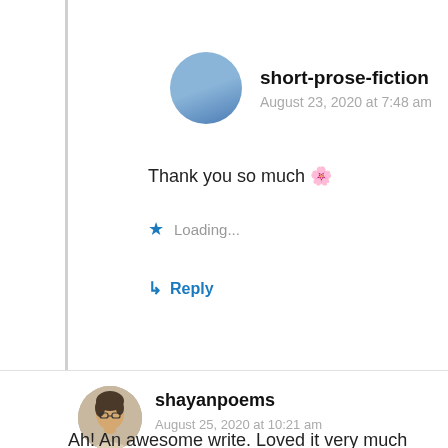short-prose-fiction
August 23, 2020 at 7:48 am
Thank you so much 🌸
Loading...
Reply
[Figure (photo): Circular avatar of shayanpoems user, showing a person with glasses]
shayanpoems
August 25, 2020 at 10:21 am
Ah! An awesome write. Loved it very much